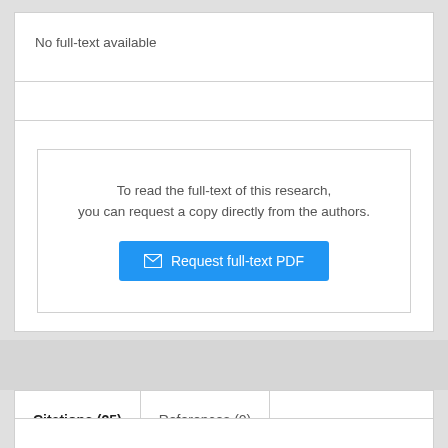No full-text available
To read the full-text of this research, you can request a copy directly from the authors.
Request full-text PDF
Citations (25)
References (0)